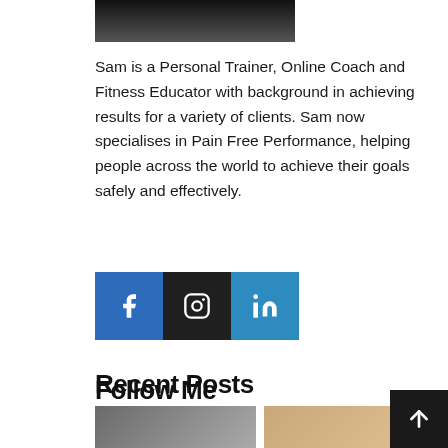[Figure (photo): Partial photo of a person (cropped, top portion visible) at the top of the page]
Sam is a Personal Trainer, Online Coach and Fitness Educator with background in achieving results for a variety of clients. Sam now specialises in Pain Free Performance, helping people across the world to achieve their goals safely and effectively.
[Figure (infographic): Three social media icon buttons: Facebook (blue), Instagram (dark/black), LinkedIn (blue)]
Follow Me
Recent Posts
[Figure (photo): Two partial thumbnail photos at the bottom of the page under Recent Posts section]
[Figure (infographic): Scroll-to-top button (dark square with upward arrow) in the bottom-right corner]